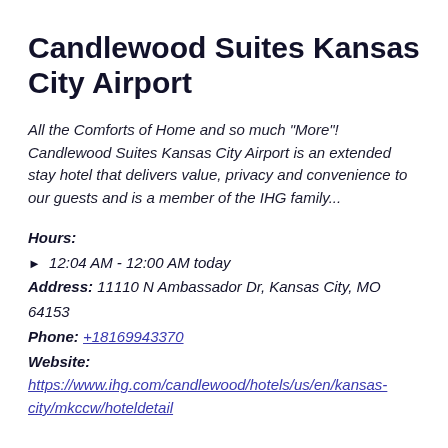Candlewood Suites Kansas City Airport
All the Comforts of Home and so much “More”! Candlewood Suites Kansas City Airport is an extended stay hotel that delivers value, privacy and convenience to our guests and is a member of the IHG family...
Hours:
▶ 12:04 AM - 12:00 AM today
Address: 11110 N Ambassador Dr, Kansas City, MO 64153
Phone: +18169943370
Website:
https://www.ihg.com/candlewood/hotels/us/en/kansas-city/mkccw/hoteldetail